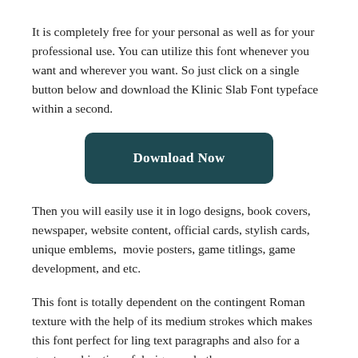It is completely free for your personal as well as for your professional use. You can utilize this font whenever you want and wherever you want. So just click on a single button below and download the Klinic Slab Font typeface within a second.
[Figure (other): A dark teal rectangular button with rounded corners labeled 'Download Now' in bold white text.]
Then you will easily use it in logo designs, book covers, newspaper, website content, official cards, stylish cards, unique emblems,  movie posters, game titlings, game development, and etc.
This font is totally dependent on the contingent Roman texture with the help of its medium strokes which makes this font perfect for ling text paragraphs and also for a great combination of designs and others.